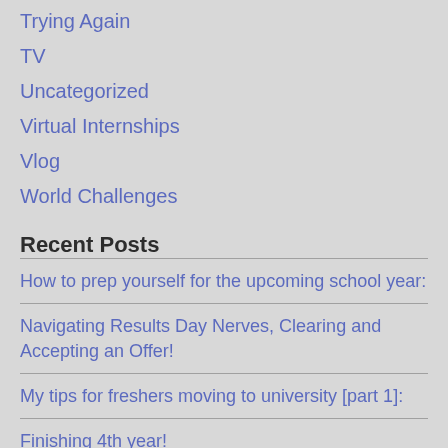Trying Again
TV
Uncategorized
Virtual Internships
Vlog
World Challenges
Recent Posts
How to prep yourself for the upcoming school year:
Navigating Results Day Nerves, Clearing and Accepting an Offer!
My tips for freshers moving to university [part 1]:
Finishing 4th year!
Elements of Consideration: UCAS offers